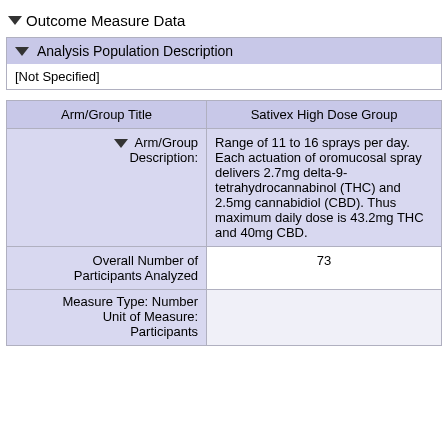Outcome Measure Data
| Analysis Population Description |
| [Not Specified] |
| Arm/Group Title | Sativex High Dose Group |
| --- | --- |
| ▼ Arm/Group Description: | Range of 11 to 16 sprays per day. Each actuation of oromucosal spray delivers 2.7mg delta-9-tetrahydrocannabinol (THC) and 2.5mg cannabidiol (CBD). Thus maximum daily dose is 43.2mg THC and 40mg CBD. |
| Overall Number of Participants Analyzed | 73 |
| Measure Type: Number
Unit of Measure:
Participants |  |